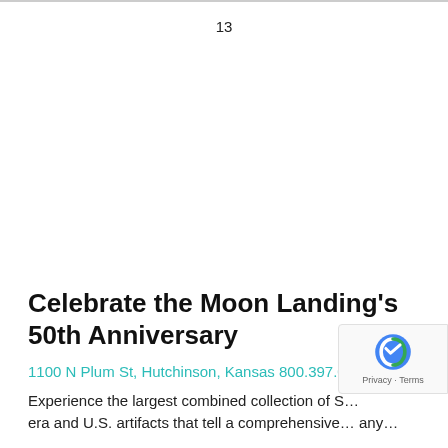13
Celebrate the Moon Landing's 50th Anniversary
1100 N Plum St, Hutchinson, Kansas 800.397.03…
Experience the largest combined collection of S… era and U.S. artifacts that tell a comprehensive… any…